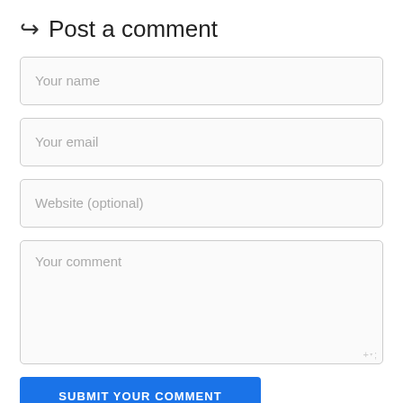↪ Post a comment
Your name
Your email
Website (optional)
Your comment
SUBMIT YOUR COMMENT